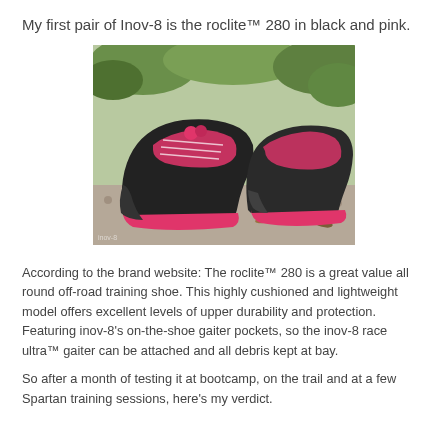My first pair of Inov-8 is the roclite™ 280 in black and pink.
[Figure (photo): Photo of a pair of Inov-8 roclite 280 trail running shoes in black and pink, photographed outdoors on a rocky/gravelly surface with green foliage in the background.]
According to the brand website: The roclite™ 280 is a great value all round off-road training shoe. This highly cushioned and lightweight model offers excellent levels of upper durability and protection. Featuring inov-8's on-the-shoe gaiter pockets, so the inov-8 race ultra™ gaiter can be attached and all debris kept at bay.
So after a month of testing it at bootcamp, on the trail and at a few Spartan training sessions, here's my verdict.